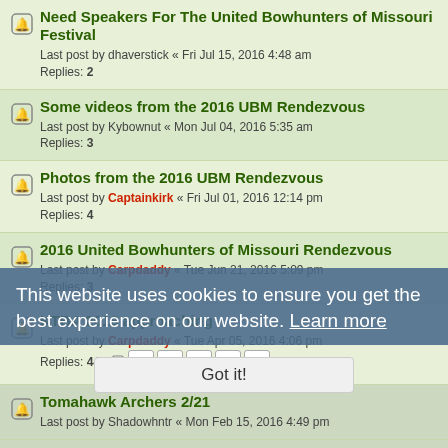Need Speakers For The United Bowhunters of Missouri Festival
Last post by dhaverstick « Fri Jul 15, 2016 4:48 am
Replies: 2
Some videos from the 2016 UBM Rendezvous
Last post by Kybownut « Mon Jul 04, 2016 5:35 am
Replies: 3
Photos from the 2016 UBM Rendezvous
Last post by Captainkirk « Fri Jul 01, 2016 12:14 pm
Replies: 4
2016 United Bowhunters of Missouri Rendezvous
Last post by Carpdaddy « Tue Jun 21, 2016 5:09 pm
Replies: 3
KTBA 2016 approaching
Last post by Carpdaddy « Tue Apr 05, 2016 4:06 pm
Replies: 44 [pages: 1 2 3 4 5]
Tomahawk Archers 2/21
Last post by Shadowhntr « Mon Feb 15, 2016 4:49 pm
Anybody going to this?
Last post by Kybownut « Fri Feb 04, 2016 11:24 am
Replies: 6
KTBA 2015
Last post by Carpdaddy « Thu Jan 03, 2016 10:11 am
Replies: 22 [pages: 1 2 3]
Kentucky Klassic Traditional Archery Festival
This website uses cookies to ensure you get the best experience on our website. Learn more
Got it!